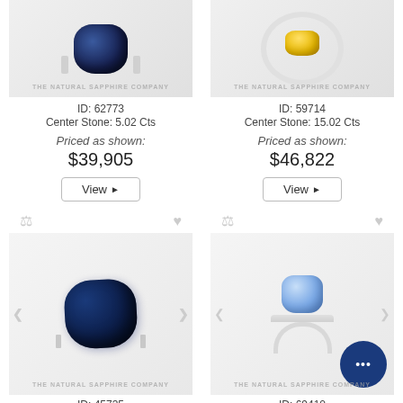[Figure (photo): Blue sapphire ring product image with watermark 'The Natural Sapphire Company', top-left product]
[Figure (photo): Yellow sapphire halo ring product image with watermark 'The Natural Sapphire Company', top-right product]
ID: 62773
Center Stone: 5.02 Cts
Priced as shown:
$39,905
ID: 59714
Center Stone: 15.02 Cts
Priced as shown:
$46,822
[Figure (photo): Dark blue sapphire cushion-cut ring with side diamonds, bottom-left product, ID 45735]
[Figure (photo): Light blue sapphire solitaire ring, bottom-right product, ID 69410]
ID: 45735
ID: 69410